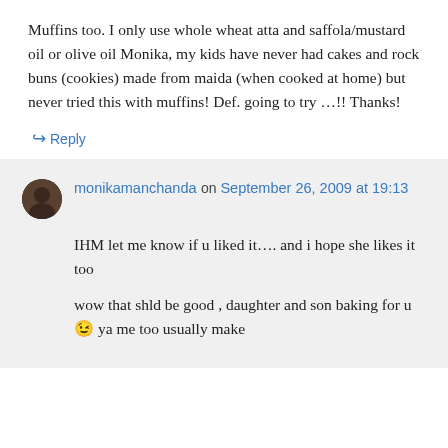Muffins too. I only use whole wheat atta and saffola/mustard oil or olive oil Monika, my kids have never had cakes and rock buns (cookies) made from maida (when cooked at home) but never tried this with muffins! Def. going to try …!! Thanks!
↳ Reply
monikamanchanda on September 26, 2009 at 19:13
IHM let me know if u liked it…. and i hope she likes it too
wow that shld be good , daughter and son baking for u 😉 ya me too usually make